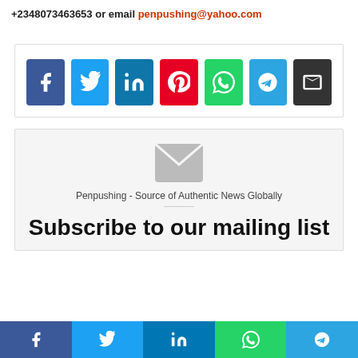+2348073463653 or email penpushing@yahoo.com
[Figure (other): Row of social share icon buttons: Facebook (blue), Twitter (light blue), LinkedIn (teal), Pinterest (red), WhatsApp (green), Telegram (blue), Email (dark grey)]
[Figure (other): Subscribe widget box with large grey envelope icon, text 'Penpushing - Source of Authentic News Globally', horizontal divider, and heading 'Subscribe to our mailing list']
[Figure (other): Bottom sticky bar with five social share icon buttons: Facebook, Twitter, LinkedIn, WhatsApp, Telegram]